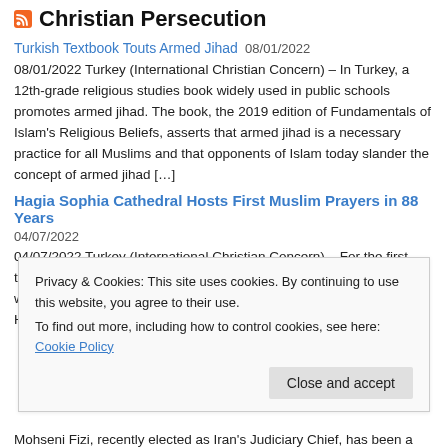Christian Persecution
Turkish Textbook Touts Armed Jihad 08/01/2022
08/01/2022 Turkey (International Christian Concern) – In Turkey, a 12th-grade religious studies book widely used in public schools promotes armed jihad. The book, the 2019 edition of Fundamentals of Islam's Religious Beliefs, asserts that armed jihad is a necessary practice for all Muslims and that opponents of Islam today slander the concept of armed jihad […]
Hagia Sophia Cathedral Hosts First Muslim Prayers in 88 Years
04/07/2022
04/07/2022 Turkey (International Christian Concern) – For the first time in 88 years, Tarawih prayer, an evening prayer during Ramadan, was held at Turkey's Hagia Sophia. Currently operating as a mosque, Hagia
Privacy & Cookies: This site uses cookies. By continuing to use this website, you agree to their use.
To find out more, including how to control cookies, see here: Cookie Policy
Close and accept
Mohseni Fizi, recently elected as Iran's Judiciary Chief, has been a not